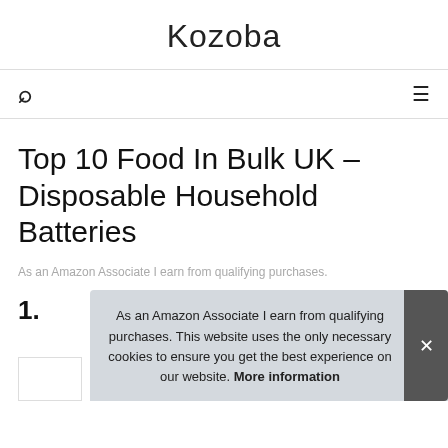Kozoba
Top 10 Food In Bulk UK – Disposable Household Batteries
As an Amazon Associate I earn from qualifying purchases.
1.
As an Amazon Associate I earn from qualifying purchases. This website uses the only necessary cookies to ensure you get the best experience on our website. More information